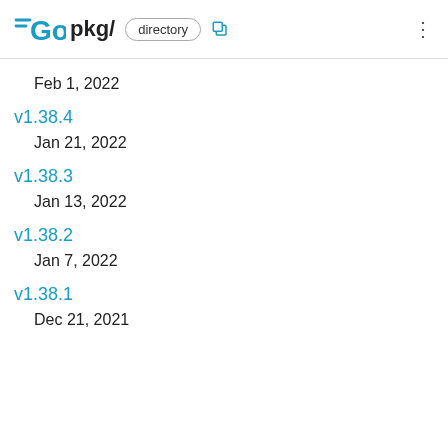GO pkg/ directory
Feb 1, 2022
v1.38.4
Jan 21, 2022
v1.38.3
Jan 13, 2022
v1.38.2
Jan 7, 2022
v1.38.1
Dec 21, 2021